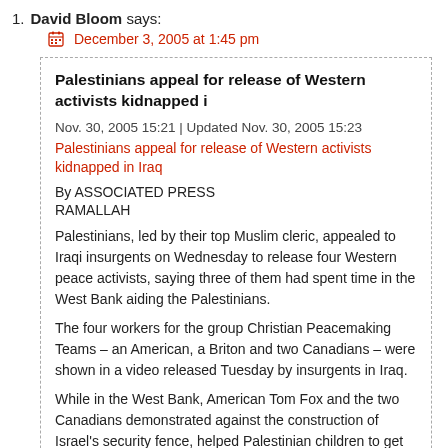1. David Bloom says:
December 3, 2005 at 1:45 pm
Palestinians appeal for release of Western activists kidnapped i
Nov. 30, 2005 15:21 | Updated Nov. 30, 2005 15:23
Palestinians appeal for release of Western activists kidnapped in Iraq
By ASSOCIATED PRESS
RAMALLAH
Palestinians, led by their top Muslim cleric, appealed to Iraqi insurgents on Wednesday to release four Western peace activists, saying three of them had spent time in the West Bank aiding the Palestinians.
The four workers for the group Christian Peacemaking Teams – an American, a Briton and two Canadians – were shown in a video released Tuesday by insurgents in Iraq.
While in the West Bank, American Tom Fox and the two Canadians demonstrated against the construction of Israel's security fence, helped Palestinian children to get through Israeli army checkpoints and pitched in with the olive harvest, Palestinians across the West Bank said Wednesday.
"We demand that these aid workers be released